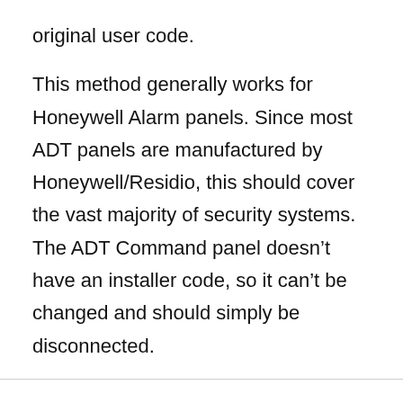original user code.
This method generally works for Honeywell Alarm panels. Since most ADT panels are manufactured by Honeywell/Residio, this should cover the vast majority of security systems. The ADT Command panel doesn’t have an installer code, so it can’t be changed and should simply be disconnected.